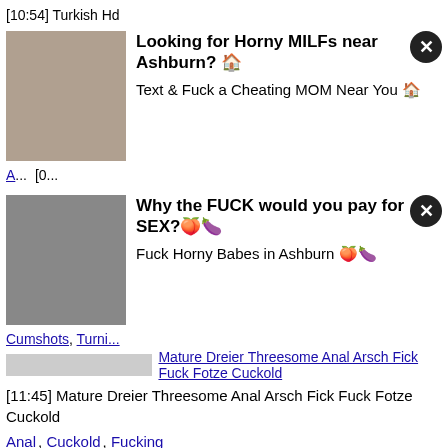[10:54] Turkish Hd...
[Figure (photo): Ad image - woman sitting outdoors]
Looking for Horny MILFs near Ashburn? 🏠 Text & Fuck a Cheating MOM Near You 🏠
A... [0...
[Figure (photo): Ad image - woman posing]
Why the FUCK would you pay for SEX?🍑🍆 Fuck Horny Babes in Ashburn 🍑🍆
Cumshots, Turni...
[Figure (screenshot): Thumbnail for Mature Dreier Threesome video]
[11:45] Mature Dreier Threesome Anal Arsch Fick Fuck Fotze Cuckold
Anal, Cuckold, Fucking
[Figure (screenshot): Thumbnail for turkish turk webcam suna]
[01:48] turkish turk webcam suna
Amateur, Teens, Turkish
[Figure (screenshot): Thumbnail for Turkish couple - home porn video]